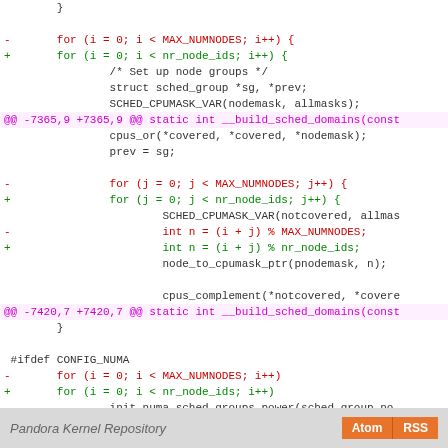[Figure (screenshot): Code diff showing changes to Linux kernel scheduler, replacing MAX_NUMNODES with nr_node_ids in loop conditions and variable assignments. Shows two hunk headers and several removed (red) and added (green) lines with context (black) code.]
Pandora Kernel Repository  Atom  RSS